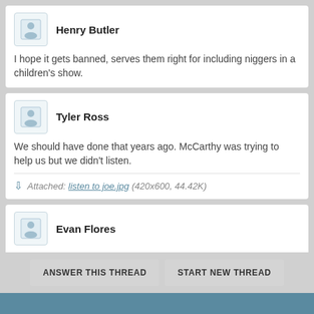Henry Butler
I hope it gets banned, serves them right for including niggers in a children's show.
Tyler Ross
We should have done that years ago. McCarthy was trying to help us but we didn't listen.
Attached: listen to joe.jpg (420x600, 44.42K)
Evan Flores
...